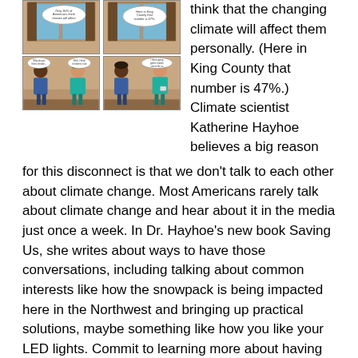[Figure (illustration): Four comic-strip style panels arranged in a 2x2 grid showing cartoon characters having conversations about climate change. Top panels show characters at windows/doors with speech bubbles. Bottom panels show two people talking face to face with speech bubbles.]
think that the changing climate will affect them personally. (Here in King County that number is 47%.) Climate scientist Katherine Hayhoe believes a big reason for this disconnect is that we don't talk to each other about climate change. Most Americans rarely talk about climate change and hear about it in the media just once a week. In Dr. Hayhoe's new book Saving Us, she writes about ways to have those conversations, including talking about common interests like how the snowpack is being impacted here in the Northwest and bringing up practical solutions, maybe something like how you like your LED lights. Commit to learning more about having climate conversations and to talking about climate on a regular basis. (And don't forget to include your elected officials in your climate communications.) Learn more about Dr. Hayhoe's research